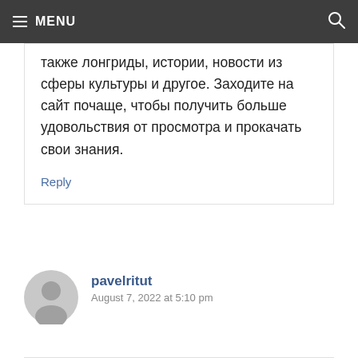MENU
также лонгриды, истории, новости из сферы культуры и другое. Заходите на сайт почаще, чтобы получить больше удовольствия от просмотра и прокачать свои знания.
Reply
pavelritut
August 7, 2022 at 5:10 pm